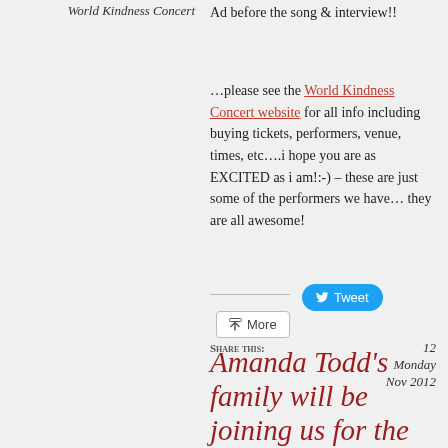World Kindness Concert
Ad before the song & interview!!
…please see the World Kindness Concert website for all info including buying tickets, performers, venue, times, etc….i hope you are as EXCITED as i am!:-) – these are just some of the performers we have… they are all awesome!
Share this:
12
Monday
Nov 2012
Amanda Todd's family will be joining us for the World Kindness